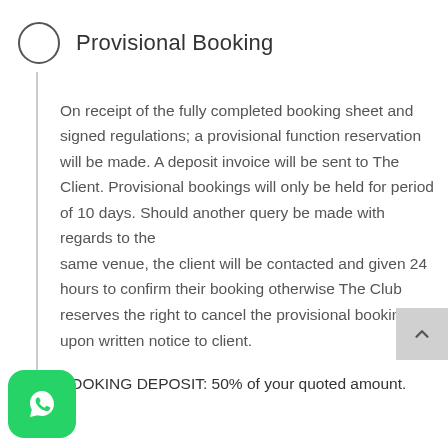Provisional Booking
On receipt of the fully completed booking sheet and signed regulations; a provisional function reservation will be made. A deposit invoice will be sent to The Client. Provisional bookings will only be held for period of 10 days. Should another query be made with regards to the same venue, the client will be contacted and given 24 hours to confirm their booking otherwise The Club reserves the right to cancel the provisional booking upon written notice to client.
BOOKING DEPOSIT: 50% of your quoted amount.